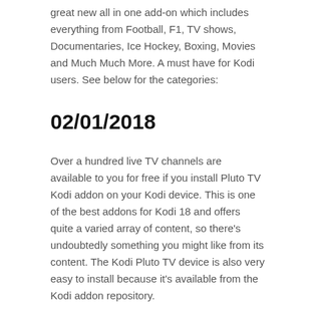great new all in one add-on which includes everything from Football, F1, TV shows, Documentaries, Ice Hockey, Boxing, Movies and Much Much More. A must have for Kodi users. See below for the categories:
02/01/2018
Over a hundred live TV channels are available to you for free if you install Pluto TV Kodi addon on your Kodi device. This is one of the best addons for Kodi 18 and offers quite a varied array of content, so there's undoubtedly something you might like from its content. The Kodi Pluto TV device is also very easy to install because it's available from the Kodi addon repository.
Mar 13, 2019 Pluto TV. kodi-plutotv-sports-add-on. Just like Xumo, Pluto TV also provides a long list of free TV channels. Being